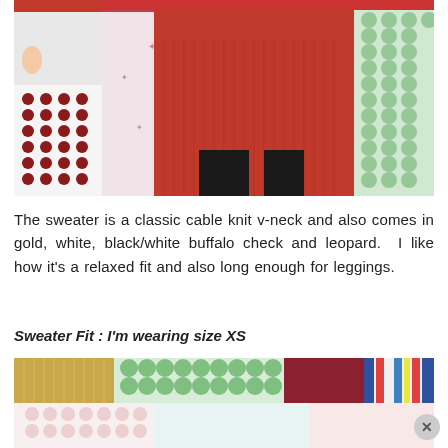[Figure (photo): Person wearing a red cable knit v-neck sweater with black leggings, standing in front of a collage of patterned wrapping papers (polka dots, snowflakes, green scales, stripes). Various colorful fabric/paper swatches are visible in panels around the main figure.]
The sweater is a classic cable knit v-neck and also comes in gold, white, black/white buffalo check and leopard.  I like how it's a relaxed fit and also long enough for leggings.
Sweater Fit : I'm wearing size XS
[Figure (photo): Bottom portion of a product/gift wrapping collage image showing fabric swatches and wrapping paper samples — gold metallic, green fish-scale pattern, dark red, striped, and polka dot patterns on light backgrounds.]